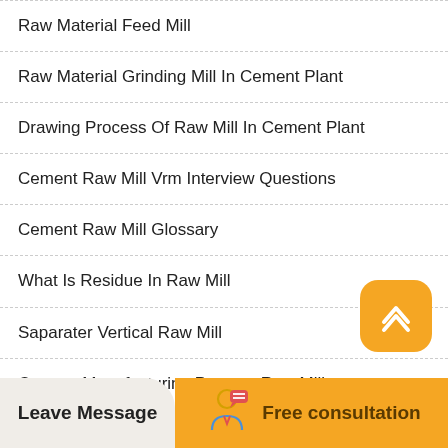Raw Material Feed Mill
Raw Material Grinding Mill In Cement Plant
Drawing Process Of Raw Mill In Cement Plant
Cement Raw Mill Vrm Interview Questions
Cement Raw Mill Glossary
What Is Residue In Raw Mill
Saparater Vertical Raw Mill
Cement Manufacturing Process Raw Mill
[Figure (illustration): Orange rounded square button with upward chevron arrow icon (scroll to top button)]
Leave Message   Free consultation